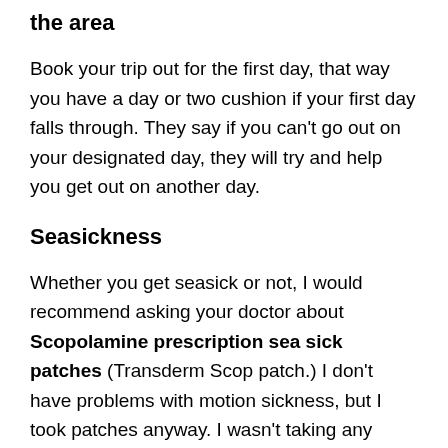the area
Book your trip out for the first day, that way you have a day or two cushion if your first day falls through. They say if you can't go out on your designated day, they will try and help you get out on another day.
Seasickness
Whether you get seasick or not, I would recommend asking your doctor about Scopolamine prescription sea sick patches (Transderm Scop patch.) I don't have problems with motion sickness, but I took patches anyway. I wasn't taking any chances on having this once in a lifetime